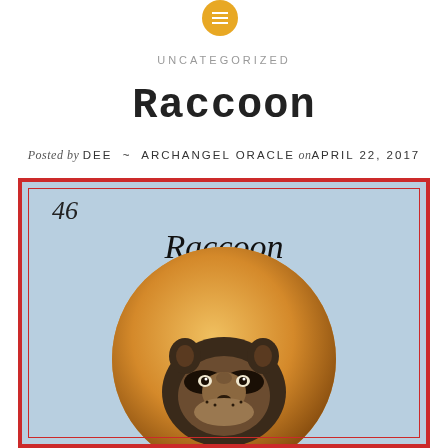menu icon
UNCATEGORIZED
Raccoon
Posted by DEE ~ ARCHANGEL ORACLE on APRIL 22, 2017
[Figure (illustration): Card illustration showing '46 Raccoon' text with a painted illustration of a raccoon in a golden circle against a blue background, framed with a red border]